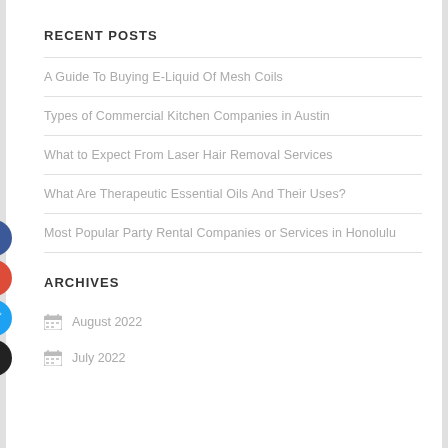RECENT POSTS
A Guide To Buying E-Liquid Of Mesh Coils
Types of Commercial Kitchen Companies in Austin
What to Expect From Laser Hair Removal Services
What Are Therapeutic Essential Oils And Their Uses?
Most Popular Party Rental Companies or Services in Honolulu
ARCHIVES
August 2022
July 2022